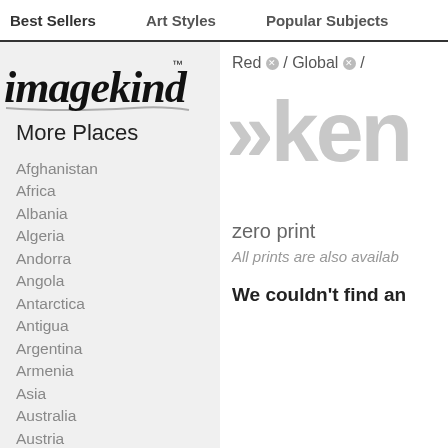Best Sellers   Art Styles   Popular Subjects
[Figure (logo): Imagekind logo in handwritten italic style with trademark symbol]
More Places
Afghanistan
Africa
Albania
Algeria
Andorra
Angola
Antarctica
Antigua
Argentina
Armenia
Asia
Australia
Austria
Azerbaijan
Bahamas
Bahrain
Red ⊗ / Global ⊗ /
»ken
zero print
All prints are also availab…
We couldn't find an